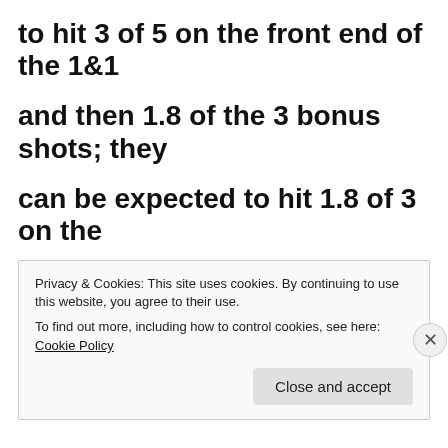to hit 3 of 5 on the front end of the 1&1

and then 1.8 of the 3 bonus shots; they

can be expected to hit 1.8 of 3 on the

one foul shot after made baskets; and

they can be expected to hit 8.4 of 14
Privacy & Cookies: This site uses cookies. By continuing to use this website, you agree to their use.
To find out more, including how to control cookies, see here: Cookie Policy